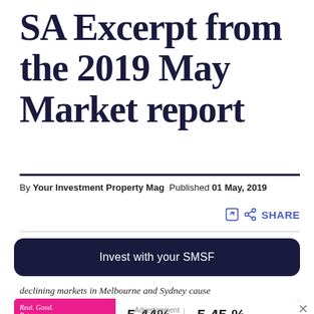SA Excerpt from the 2019 May Market report
By Your Investment Property Mag  Published 01 May, 2019
SHARE
Invest with your SMSF
declining markets in Melbourne and Sydney cause
[Figure (infographic): Advertisement banner for SMSF Home Loan: Real Good Rates. SMSF Home Loan 5.44% variable rate p.a.* | 5.45% comparison rate p.a.* loans.com.au]
Advertisement